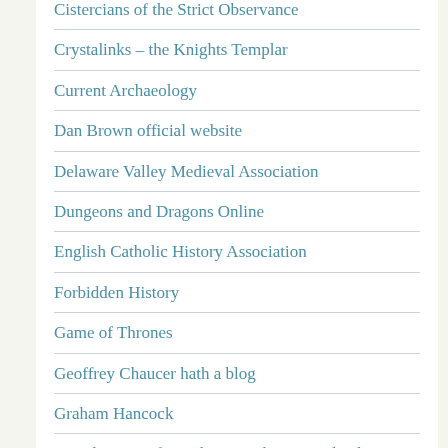Cistercians of the Strict Observance
Crystalinks – the Knights Templar
Current Archaeology
Dan Brown official website
Delaware Valley Medieval Association
Dungeons and Dragons Online
English Catholic History Association
Forbidden History
Game of Thrones
Geoffrey Chaucer hath a blog
Graham Hancock
Grand Priory of Knights Templar in Scotland
Grand York Rite of California